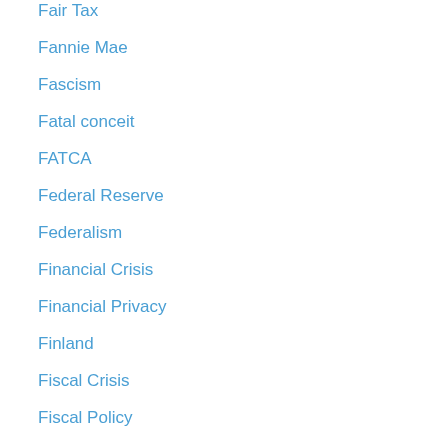Fair Tax
Fannie Mae
Fascism
Fatal conceit
FATCA
Federal Reserve
Federalism
Financial Crisis
Financial Privacy
Finland
Fiscal Crisis
Fiscal Policy
Flat Tax
Florida
Food and Drug Administration
food nazi
Food Stamps
Foreign Aid
Foreign Policy